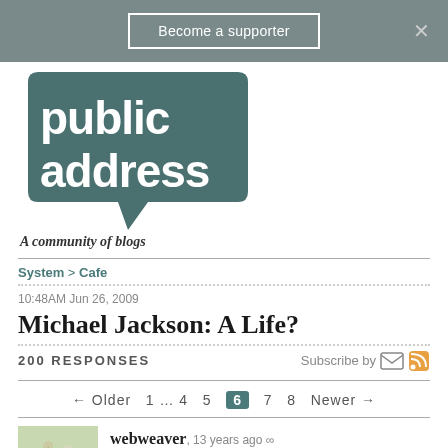Become a supporter
[Figure (logo): Public Address - A community of blogs logo: dark teal speech bubble containing white 'public address' text]
System > Cafe
10:48AM Jun 26, 2009
Michael Jackson: A Life?
200 RESPONSES   Subscribe by [email] [rss]
← Older  1 … 4 5  6  7 8  Newer →
webweaver, 13 years ago ∞